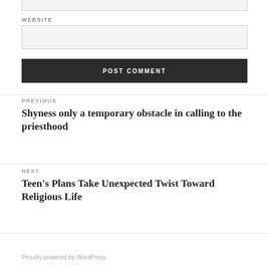WEBSITE
POST COMMENT
PREVIOUS
Shyness only a temporary obstacle in calling to the priesthood
NEXT
Teen's Plans Take Unexpected Twist Toward Religious Life
Proudly powered by WordPress